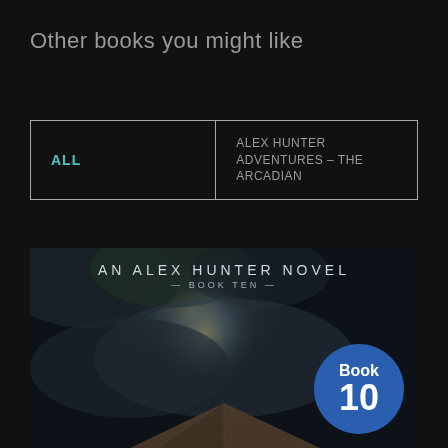Other books you might like
ALL
ALEX HUNTER ADVENTURES – THE ARCADIAN
[Figure (illustration): Book cover for An Alex Hunter Novel, Book Ten. Dark atmospheric cover showing a pyramid under stormy cloudy sky with glowing light. A blue circular badge in the bottom right reads 'Book 10'. Text at top reads 'AN ALEX HUNTER NOVEL — BOOK TEN —'.]